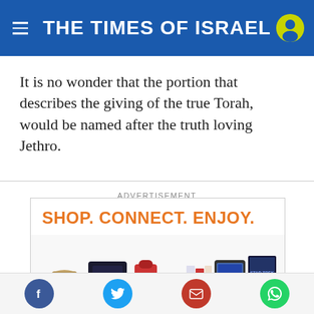THE TIMES OF ISRAEL
It is no wonder that the portion that describes the giving of the true Torah, would be named after the truth loving Jethro.
ADVERTISEMENT
[Figure (photo): Amazon advertisement showing various products (handbag, gaming console, kitchen mixer, books, tablets, movie) with text SHOP. CONNECT. ENJOY. and All from Earth's]
Social sharing buttons: Facebook, Twitter, Email, WhatsApp